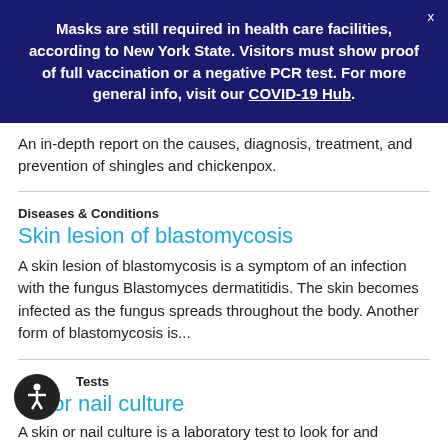Masks are still required in health care facilities, according to New York State. Visitors must show proof of full vaccination or a negative PCR test. For more general info, visit our COVID-19 Hub.
An in-depth report on the causes, diagnosis, treatment, and prevention of shingles and chickenpox.
Diseases & Conditions
Skin lesion of blastomycosis
A skin lesion of blastomycosis is a symptom of an infection with the fungus Blastomyces dermatitidis. The skin becomes infected as the fungus spreads throughout the body. Another form of blastomycosis is...
Tests
Skin or nail culture
A skin or nail culture is a laboratory test to look for and